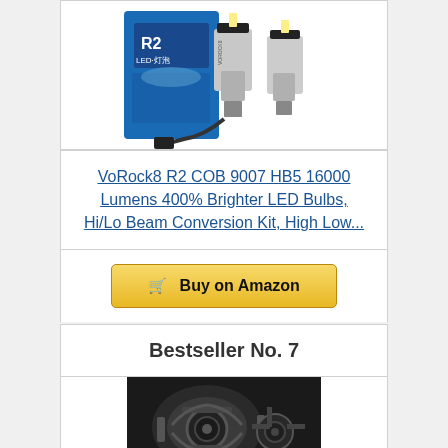[Figure (photo): Product photo of VoRock8 R2 COB 9007 HB5 LED bulbs kit with R2 LED box packaging and two silver LED bulb units]
VoRock8 R2 COB 9007 HB5 16000 Lumens 400% Brighter LED Bulbs, Hi/Lo Beam Conversion Kit, High Low...
Buy on Amazon
Bestseller No. 7
[Figure (photo): Product photo showing automotive headlight assembly components, dark/black mechanical parts]